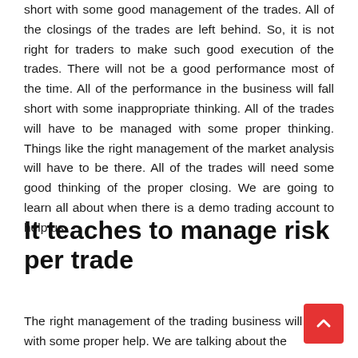short with some good management of the trades. All of the closings of the trades are left behind. So, it is not right for traders to make such good execution of the trades. There will not be a good performance most of the time. All of the performance in the business will fall short with some inappropriate thinking. All of the trades will have to be managed with some proper thinking. Things like the right management of the market analysis will have to be there. All of the trades will need some good thinking of the proper closing. We are going to learn all about when there is a demo trading account to help us.
It teaches to manage risk per trade
The right management of the trading business will good with some proper help. We are talking about the